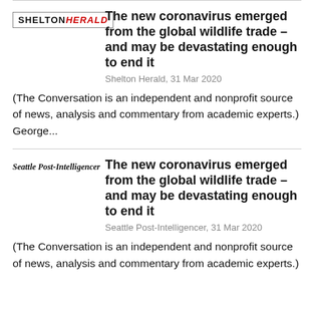[Figure (logo): Shelton Herald logo — 'SHELTON' in black uppercase serif, 'HERALD' in red italic uppercase, inside a thin border box]
The new coronavirus emerged from the global wildlife trade – and may be devastating enough to end it
Shelton Herald, 31 Mar 2020
(The Conversation is an independent and nonprofit source of news, analysis and commentary from academic experts.) George...
[Figure (logo): Seattle Post-Intelligencer logo in bold italic serif font]
The new coronavirus emerged from the global wildlife trade – and may be devastating enough to end it
Seattle Post-Intelligencer, 31 Mar 2020
(The Conversation is an independent and nonprofit source of news, analysis and commentary from academic experts.)